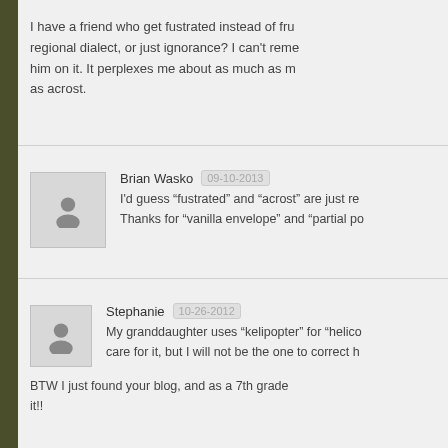I have a friend who get fustrated instead of fru... regional dialect, or just ignorance? I can't reme... him on it. It perplexes me about as much as m... as acrost.
Brian Wasko  09-10-2013  I'd guess “fustrated” and “acrost” are just re... Thanks for “vanilla envelope” and “partial po...
Stephanie  10-26-2012  My granddaughter uses “kelipopter” for “helico... care for it, but I will not be the one to correct h...  BTW I just found your blog, and as a 7th grade... it!!